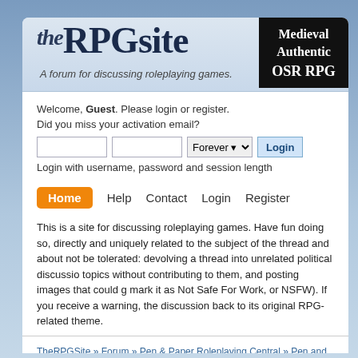theRPGsite
A forum for discussing roleplaying games.
[Figure (other): Medieval Authentic OSR RPG advertisement banner]
Welcome, Guest. Please login or register.
Did you miss your activation email?
Login with username, password and session length
Home
Help
Contact
Login
Register
This is a site for discussing roleplaying games. Have fun doing so, directly and uniquely related to the subject of the thread and about not be tolerated: devolving a thread into unrelated political discussion topics without contributing to them, and posting images that could g mark it as Not Safe For Work, or NSFW). If you receive a warning, the discussion back to its original RPG-related theme.
TheRPGSite » Forum » Pen & Paper Roleplaying Central » Pen and Paper Ro
[5e/D&D] Backgrounds - the BIG list of backgrounds!
Pages: [1] 2 3 ... 7